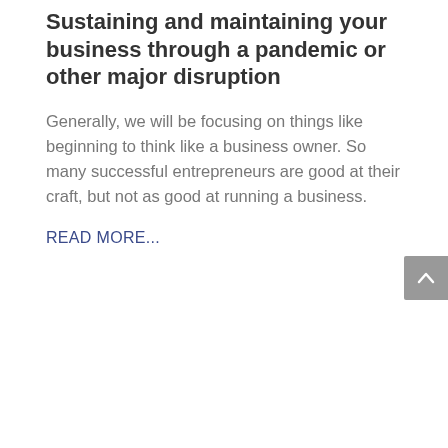Sustaining and maintaining your business through a pandemic or other major disruption
Generally, we will be focusing on things like beginning to think like a business owner. So many successful entrepreneurs are good at their craft, but not as good at running a business.
READ MORE...